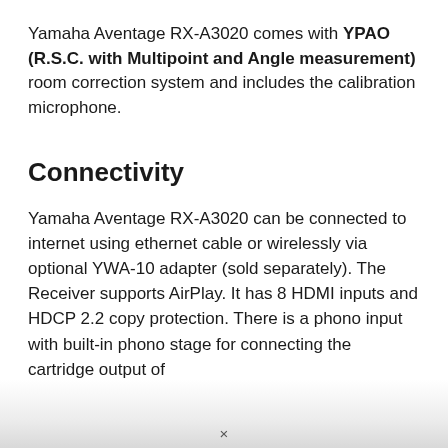Yamaha Aventage RX-A3020 comes with YPAO (R.S.C. with Multipoint and Angle measurement) room correction system and includes the calibration microphone.
Connectivity
Yamaha Aventage RX-A3020 can be connected to internet using ethernet cable or wirelessly via optional YWA-10 adapter (sold separately). The Receiver supports AirPlay. It has 8 HDMI inputs and HDCP 2.2 copy protection. There is a phono input with built-in phono stage for connecting the cartridge output of